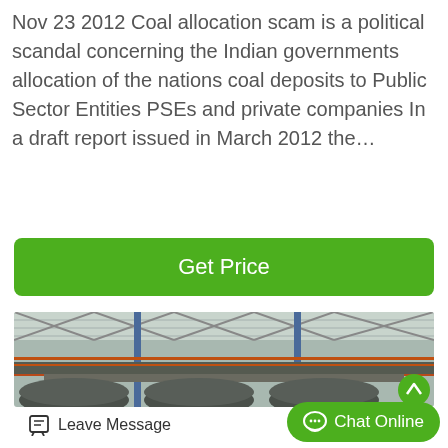Nov 23 2012 Coal allocation scam is a political scandal concerning the Indian governments allocation of the nations coal deposits to Public Sector Entities PSEs and private companies In a draft report issued in March 2012 the…
[Figure (other): Green 'Get Price' button]
[Figure (photo): Interior of an industrial facility showing conveyor belts, steel pipes, metal roof trusses, and blue steel columns]
Leave Message
Chat Online